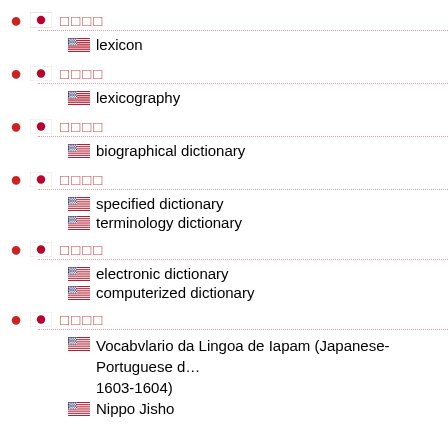□□□□ — lexicon
□□□□ — lexicography
□□□□ — biographical dictionary
□□□□ — specified dictionary; terminology dictionary
□□□□ — electronic dictionary; computerized dictionary
□□□□ — Vocabvlario da Lingoa de Iapam (Japanese-Portuguese dictionary, 1603-1604); Nippo Jisho